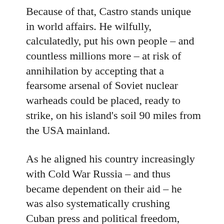Because of that, Castro stands unique in world affairs. He wilfully, calculatedly, put his own people – and countless millions more – at risk of annihilation by accepting that a fearsome arsenal of Soviet nuclear warheads could be placed, ready to strike, on his island’s soil 90 miles from the USA mainland.
As he aligned his country increasingly with Cold War Russia – and thus became dependent on their aid – he was also systematically crushing Cuban press and political freedom, building what were, in effect, concentration camps for gays and a regime that was openly hostile to the black minority on the island.
In the intervening years until his death, hundreds of thousands of Cubans fled his oppressive regime, and the island’s economy – once the bright star of Latin America – has languished at